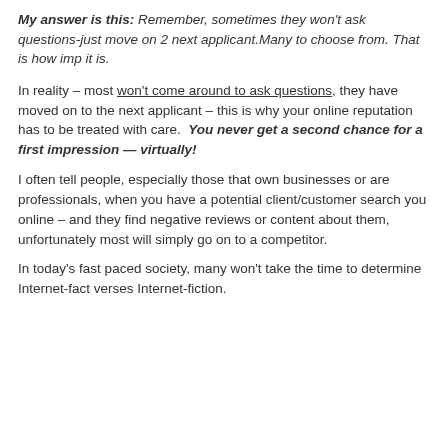My answer is this: Remember, sometimes they won't ask questions-just move on 2 next applicant.Many to choose from. That is how imp it is.
In reality – most won't come around to ask questions, they have moved on to the next applicant – this is why your online reputation has to be treated with care. You never get a second chance for a first impression — virtually!
I often tell people, especially those that own businesses or are professionals, when you have a potential client/customer search you online – and they find negative reviews or content about them, unfortunately most will simply go on to a competitor.
In today's fast paced society, many won't take the time to determine Internet-fact verses Internet-fiction.